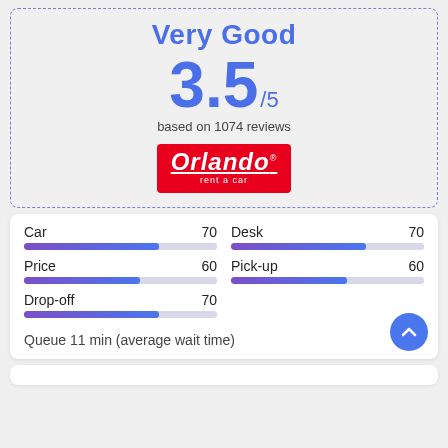Very Good
3.5/5
based on 1074 reviews
[Figure (logo): Orlando rent a car logo — red background, white italic bold text 'Orlando' with underline, small text 'rent a car' below]
| Category | Score | Category | Score |
| --- | --- | --- | --- |
| Car | 70 | Desk | 70 |
| Price | 60 | Pick-up | 60 |
| Drop-off | 70 |  |  |
Queue 11 min (average wait time)